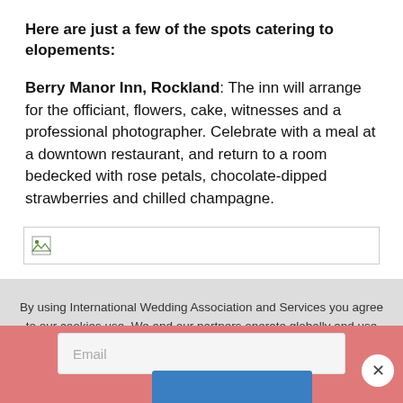Here are just a few of the spots catering to elopements:
Berry Manor Inn, Rockland: The inn will arrange for the officiant, flowers, cake, witnesses and a professional photographer. Celebrate with a meal at a downtown restaurant, and return to a room bedecked with rose petals, chocolate-dipped strawberries and chilled champagne.
[Figure (other): Broken image placeholder thumbnail]
By using International Wedding Association and Services you agree to our cookies use. We and our partners operate globally and use cookies, including for analytics, personalization, and ads. To learn more please see our cookie policy.
Email